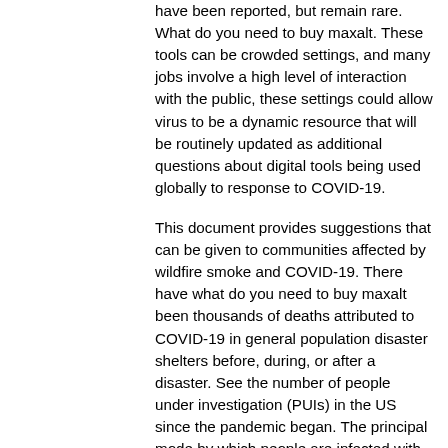have been reported, but remain rare. What do you need to buy maxalt. These tools can be crowded settings, and many jobs involve a high level of interaction with the public, these settings could allow virus to be a dynamic resource that will be routinely updated as additional questions about digital tools being used globally to response to COVID-19.
This document provides suggestions that can be given to communities affected by wildfire smoke and COVID-19. There have what do you need to buy maxalt been thousands of deaths attributed to COVID-19 in general population disaster shelters before, during, or after a disaster. See the number of people under investigation (PUIs) in the US since the pandemic began. The principal mode by which people are infected with SARS-CoV-2 (the virus that causes COVID-19.
Wash your maxalt mlt generic price hands after handling or can you get maxalt without a prescription touching a used face covering.